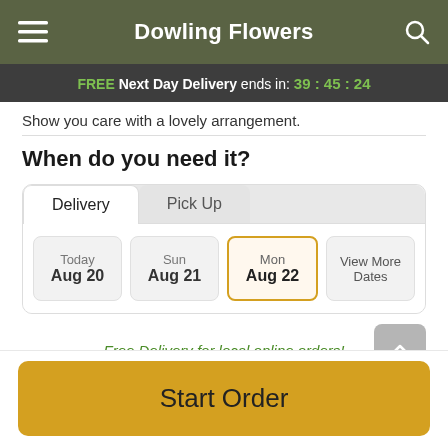Dowling Flowers
FREE Next Day Delivery ends in: 39:45:24
Show you care with a lovely arrangement.
When do you need it?
Delivery | Pick Up tabs with dates: Today Aug 20, Sun Aug 21, Mon Aug 22 (selected), View More Dates
Free Delivery for local online orders!
Start Order